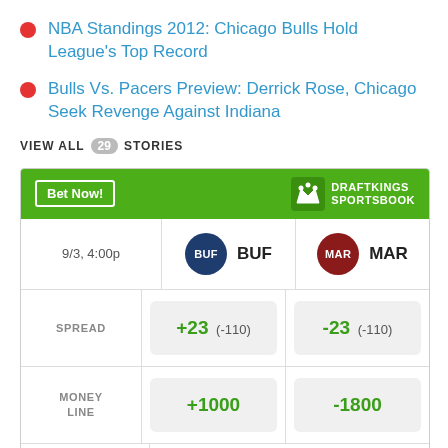NBA Standings 2012: Chicago Bulls Hold League's Top Record
Bulls Vs. Pacers Preview: Derrick Rose, Chicago Seek Revenge Against Indiana
VIEW ALL 29 STORIES
|  | BUF | MAR |
| --- | --- | --- |
| 9/3, 4:00p | BUF | MAR |
| SPREAD | +23 (-110) | -23 (-110) |
| MONEY LINE | +1000 | -1800 |
| OVER UNDER | > 63.5 (-110) | < 63.5 (-110) |